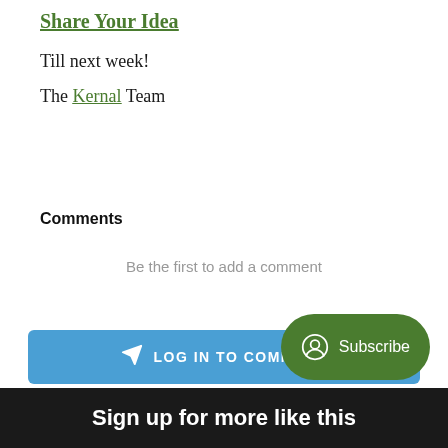Share Your Idea
Till next week!
The Kernal Team
Comments
Be the first to add a comment
LOG IN TO COMMENT
Subscribe
Sign up for more like this